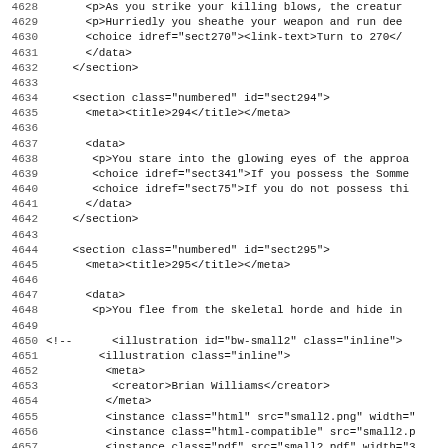Code listing lines 4628-4659, XML/markup source code for a gamebook or interactive fiction XML file.